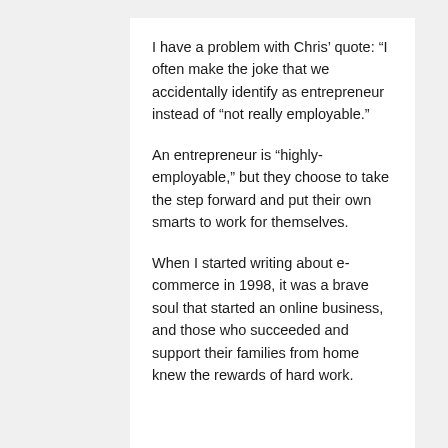I have a problem with Chris’ quote: “I often make the joke that we accidentally identify as entrepreneur instead of “not really employable.”
An entrepreneur is “highly-employable,” but they choose to take the step forward and put their own smarts to work for themselves.
When I started writing about e-commerce in 1998, it was a brave soul that started an online business, and those who succeeded and support their families from home knew the rewards of hard work.